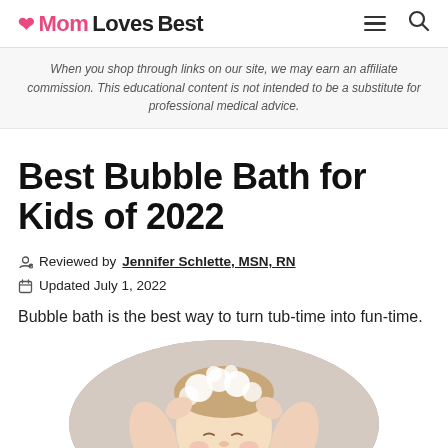MomLovesBest
When you shop through links on our site, we may earn an affiliate commission. This educational content is not intended to be a substitute for professional medical advice.
Best Bubble Bath for Kids of 2022
Reviewed by Jennifer Schlette, MSN, RN
Updated July 1, 2022
Bubble bath is the best way to turn tub-time into fun-time.
[Figure (photo): Child with soap suds on their hair, smiling in a bathtub, shown in an oval-cropped photo.]